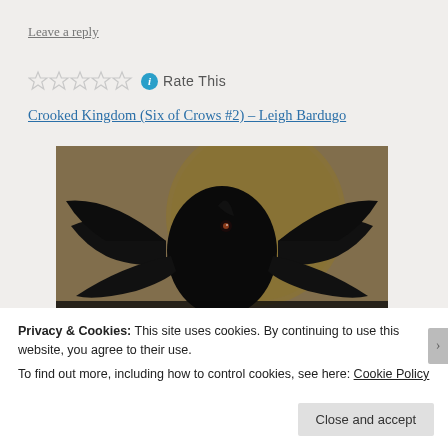Leave a reply
Rate This
Crooked Kingdom (Six of Crows #2) – Leigh Bardugo
[Figure (photo): Book cover of Crooked Kingdom by Leigh Bardugo, showing a black crow with spread wings against a golden background. Text reads '#1 NEW YORK TIMES–BESTSELLING AUTHOR' and 'LEIGH BARDUGO' in red letters.]
Privacy & Cookies: This site uses cookies. By continuing to use this website, you agree to their use.
To find out more, including how to control cookies, see here: Cookie Policy
Close and accept